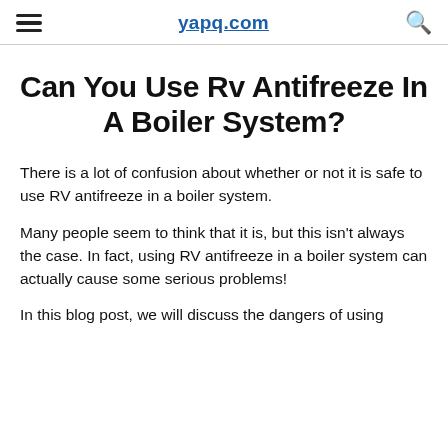yapq.com
Can You Use Rv Antifreeze In A Boiler System?
There is a lot of confusion about whether or not it is safe to use RV antifreeze in a boiler system.
Many people seem to think that it is, but this isn't always the case. In fact, using RV antifreeze in a boiler system can actually cause some serious problems!
In this blog post, we will discuss the dangers of using